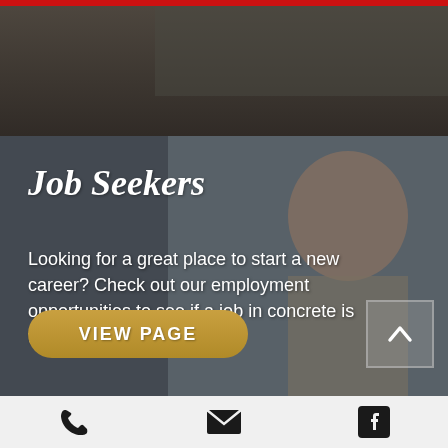[Figure (photo): Top portion of page — dark grayscale outdoor/nature photo at top]
[Figure (photo): Background photo of a smiling man in a cap and work clothes, standing outdoors near a vehicle. Overlaid with a semi-transparent dark teal color wash.]
Job Seekers
Looking for a great place to start a new career? Check out our employment opportunities to see if a job in concrete is the right fit for you!
VIEW PAGE
Phone | Email | Facebook icons